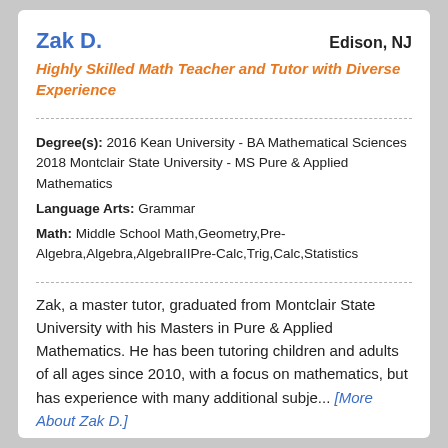Zak D.
Edison, NJ
Highly Skilled Math Teacher and Tutor with Diverse Experience
Degree(s): 2016 Kean University - BA Mathematical Sciences 2018 Montclair State University - MS Pure & Applied Mathematics
Language Arts: Grammar
Math: Middle School Math,Geometry,Pre-Algebra,Algebra,AlgebraIIPre-Calc,Trig,Calc,Statistics
Zak, a master tutor, graduated from Montclair State University with his Masters in Pure & Applied Mathematics. He has been tutoring children and adults of all ages since 2010, with a focus on mathematics, but has experience with many additional subje... [More About Zak D.]